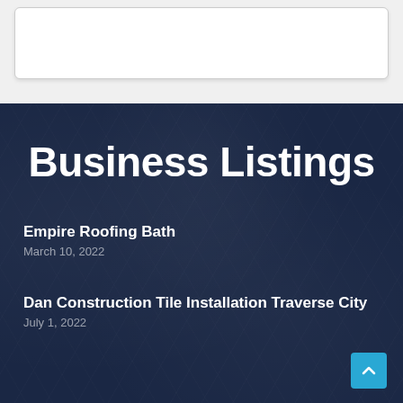[Figure (screenshot): Top white/gray section with a white card box with rounded corners and light border]
[Figure (photo): Dark navy blue textured background section]
Business Listings
Empire Roofing Bath
March 10, 2022
Dan Construction Tile Installation Traverse City
July 1, 2022